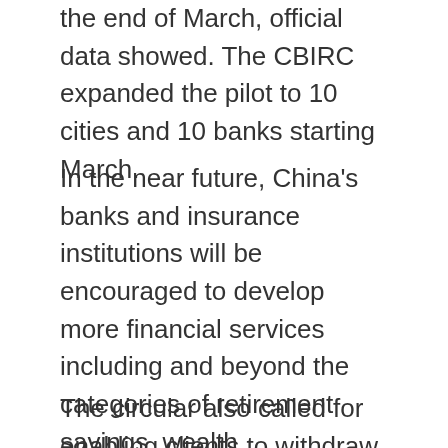the end of March, official data showed. The CBIRC expanded the pilot to 10 cities and 10 banks starting March.
In the near future, China's banks and insurance institutions will be encouraged to develop more financial services including and beyond the categories of retirement savings, wealth management, old-age insurance and pension, and to help clients make sound financial plans and hedge against risks, said the CBIRC in an April circular.
The circular also called for enabling clients to withdraw from their pension